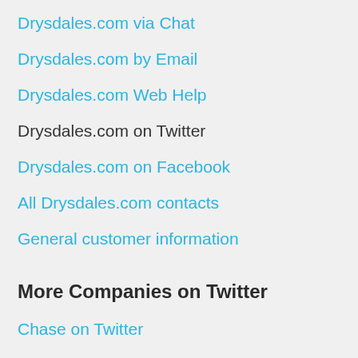Drysdales.com via Chat
Drysdales.com by Email
Drysdales.com Web Help
Drysdales.com on Twitter
Drysdales.com on Facebook
All Drysdales.com contacts
General customer information
More Companies on Twitter
Chase on Twitter
DirecTV on Twitter
T-Mobile on Twitter
Verizon on Twitter